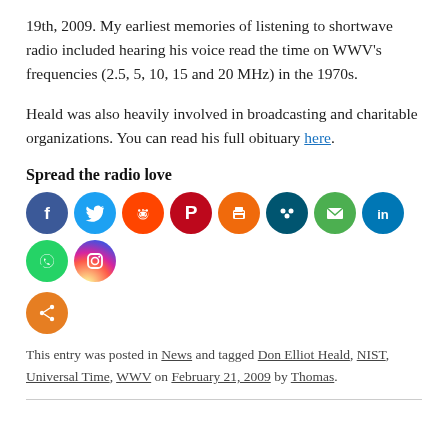19th, 2009. My earliest memories of listening to shortwave radio included hearing his voice read the time on WWV's frequencies (2.5, 5, 10, 15 and 20 MHz) in the 1970s.
Heald was also heavily involved in broadcasting and charitable organizations. You can read his full obituary here.
Spread the radio love
[Figure (infographic): Row of social media share buttons as colored circles: Facebook (dark blue), Twitter (light blue), Reddit (orange-red), Pinterest (dark red), Print (orange), Alignable (dark teal), Email (green), LinkedIn (dark blue), WhatsApp (green), Instagram (purple-orange gradient), and a general share button (orange).]
This entry was posted in News and tagged Don Elliot Heald, NIST, Universal Time, WWV on February 21, 2009 by Thomas.